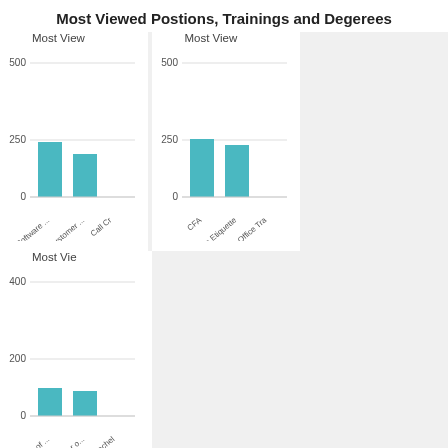Most Viewed Postions, Trainings and Degerees
[Figure (bar-chart): Most View]
[Figure (bar-chart): Most View]
[Figure (bar-chart): Most Vie]
Featured Companies
[Figure (infographic): Grid of 8 empty white company card placeholders (4 columns x 2 rows)]